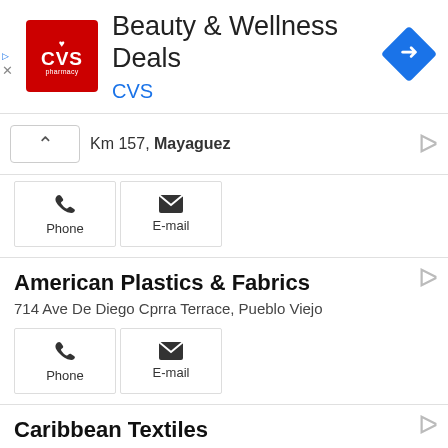[Figure (infographic): CVS Pharmacy advertisement banner with logo, 'Beauty & Wellness Deals' heading, CVS subtitle, and navigation icon]
Km 157, Mayaguez
Phone | E-mail
American Plastics & Fabrics
714 Ave De Diego Cprra Terrace, Pueblo Viejo
Phone | E-mail
Caribbean Textiles
701 Ave De Diego, Puerto Nuevo
Phone | E-mail